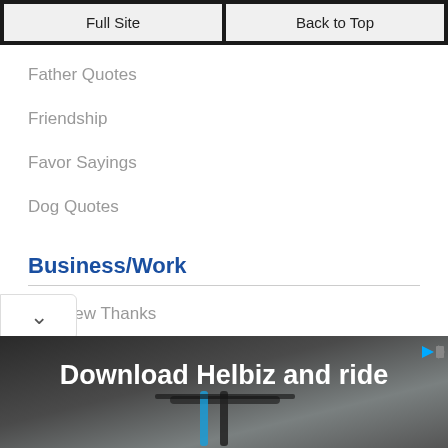Full Site | Back to Top
Father Quotes
Friendship
Favor Sayings
Dog Quotes
Business/Work
Interview Thanks
Business Thanks
[Figure (screenshot): Download Helbiz and ride advertisement banner with scooter image]